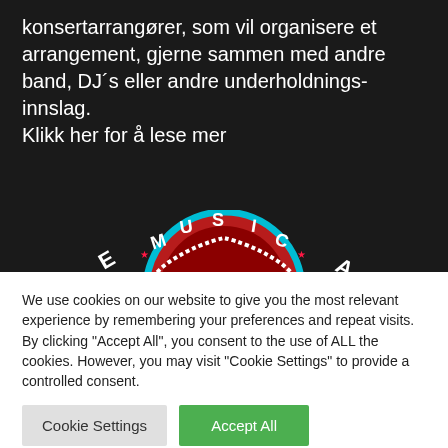konsertarrangører, som vil organisere et arrangement, gjerne sammen med andre band, DJ´s eller andre underholdnings-innslag.
Klikk her for å lese mer
[Figure (logo): Partial circular music logo showing 'MUSIC' text on a red gear/record shape with blue and white accents — only the top portion is visible]
We use cookies on our website to give you the most relevant experience by remembering your preferences and repeat visits. By clicking "Accept All", you consent to the use of ALL the cookies. However, you may visit "Cookie Settings" to provide a controlled consent.
Cookie Settings
Accept All